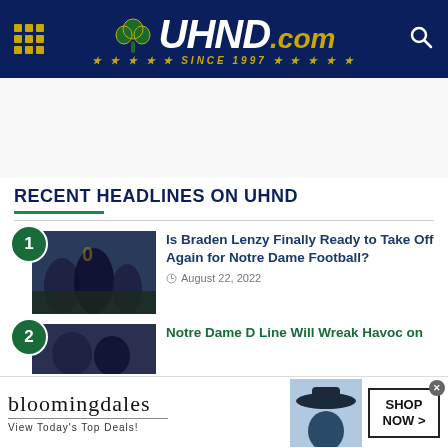UHND.com — Since 1997
RECENT HEADLINES ON UHND
1. Is Braden Lenzy Finally Ready to Take Off Again for Notre Dame Football? — August 22, 2022
2. Notre Dame D Line Will Wreak Havoc on…
[Figure (screenshot): Bloomingdale's advertisement banner: logo, 'View Today's Top Deals!', woman in hat, 'SHOP NOW >' button]